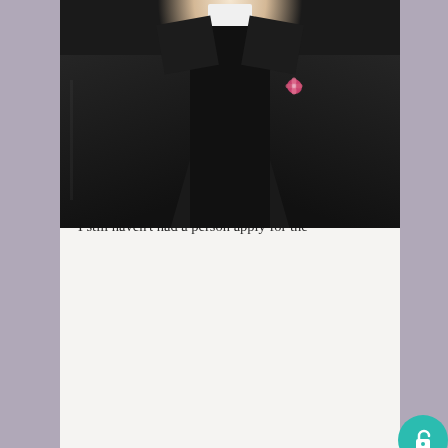[Figure (photo): Close-up photo of a person wearing a black clerical suit with a white clerical collar and a small pink/red floral pin on the lapel]
Session I Managing Multiple Assignments
There are three seminary applicants at various stages, a discernment retreat is coming up in two weeks, two people died this week at the parish, and I still haven't had a person apply for the assistant position at the parish. This is the